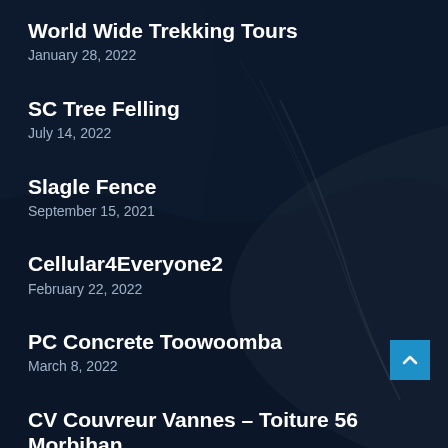World Wide Trekking Tours
January 28, 2022
SC Tree Felling
July 14, 2022
Slagle Fence
September 15, 2021
Cellular4Everyone2
February 22, 2022
PC Concrete Toowoomba
March 8, 2022
CV Couvreur Vannes – Toiture 56 Morbihan